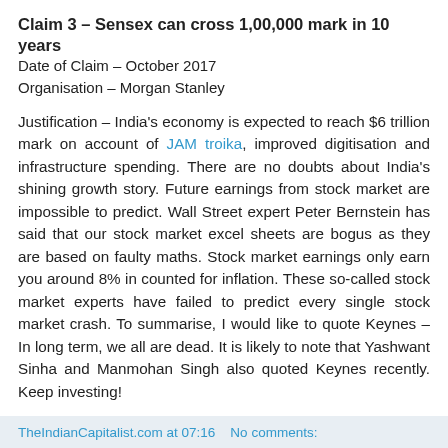Claim 3 – Sensex can cross 1,00,000 mark in 10 years
Date of Claim – October 2017
Organisation – Morgan Stanley
Justification – India's economy is expected to reach $6 trillion mark on account of JAM troika, improved digitisation and infrastructure spending. There are no doubts about India's shining growth story. Future earnings from stock market are impossible to predict. Wall Street expert Peter Bernstein has said that our stock market excel sheets are bogus as they are based on faulty maths. Stock market earnings only earn you around 8% in counted for inflation. These so-called stock market experts have failed to predict every single stock market crash. To summarise, I would like to quote Keynes – In long term, we all are dead. It is likely to note that Yashwant Sinha and Manmohan Singh also quoted Keynes recently. Keep investing!
- Chaitanya Kulkarni
TheIndianCapitalist.com at 07:16    No comments: